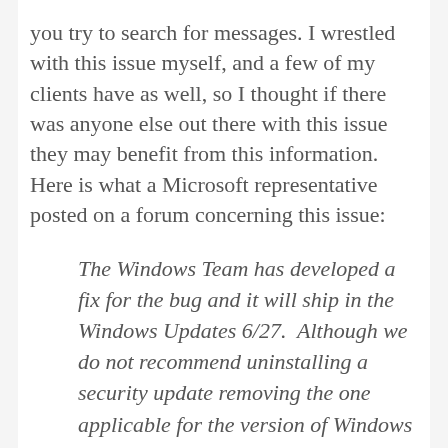you try to search for messages. I wrestled with this issue myself, and a few of my clients have as well, so I thought if there was anyone else out there with this issue they may benefit from this information. Here is what a Microsoft representative posted on a forum concerning this issue:
The Windows Team has developed a fix for the bug and it will ship in the Windows Updates 6/27.  Although we do not recommend uninstalling a security update removing the one applicable for the version of Windows does mitigate it. It will likely require Windows to be